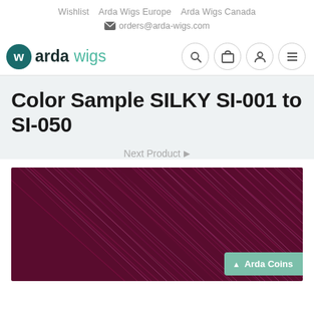Wishlist  Arda Wigs Europe  Arda Wigs Canada
orders@arda-wigs.com
[Figure (logo): Arda Wigs logo with teal circular icon and text 'arda wigs']
Color Sample SILKY SI-001 to SI-050
Next Product ▶
[Figure (photo): Close-up photo of dark burgundy/purple silky wig fiber texture with diagonal striations]